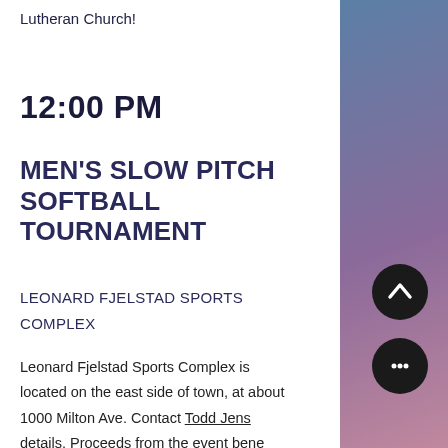Lutheran Church!
12:00 PM
MEN'S SLOW PITCH SOFTBALL TOURNAMENT
LEONARD FJELSTAD SPORTS COMPLEX
Leonard Fjelstad Sports Complex is located on the east side of town, at about 1000 Milton Ave. Contact Todd Jens details. Proceeds from the event benefit